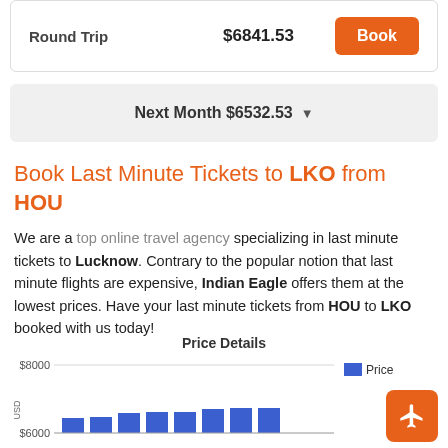Round Trip   $6841.53   Book
Next Month $6532.53 ▼
Book Last Minute Tickets to LKO from HOU
We are a top online travel agency specializing in last minute tickets to Lucknow. Contrary to the popular notion that last minute flights are expensive, Indian Eagle offers them at the lowest prices. Have your last minute tickets from HOU to LKO booked with us today!
[Figure (bar-chart): Price Details]